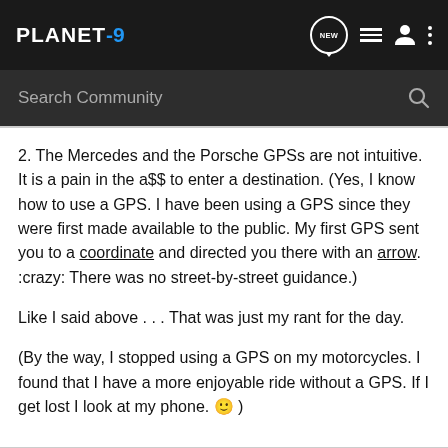PLANET-9 [navigation icons: NEW, list, user, more]
Search Community
2. The Mercedes and the Porsche GPSs are not intuitive. It is a pain in the a$$ to enter a destination. (Yes, I know how to use a GPS. I have been using a GPS since they were first made available to the public. My first GPS sent you to a coordinate and directed you there with an arrow. :crazy: There was no street-by-street guidance.)
Like I said above . . . That was just my rant for the day.
(By the way, I stopped using a GPS on my motorcycles. I found that I have a more enjoyable ride without a GPS. If I get lost I look at my phone. 🙂 )